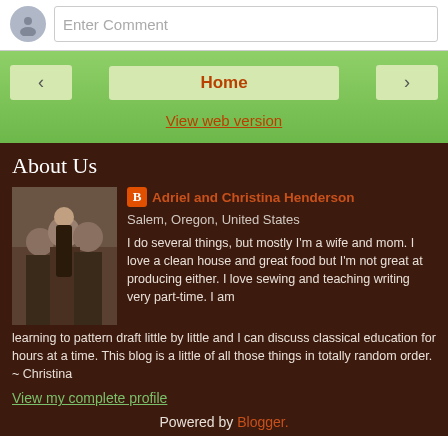Enter Comment
< Home >
View web version
About Us
Adriel and Christina Henderson
Salem, Oregon, United States
I do several things, but mostly I'm a wife and mom. I love a clean house and great food but I'm not great at producing either. I love sewing and teaching writing very part-time. I am learning to pattern draft little by little and I can discuss classical education for hours at a time. This blog is a little of all those things in totally random order. ~ Christina
View my complete profile
Powered by Blogger.